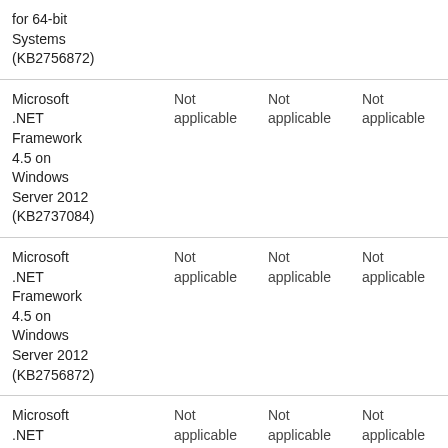| for 64-bit Systems (KB2756872) |  |  |  |
| Microsoft .NET Framework 4.5 on Windows Server 2012 (KB2737084) | Not applicable | Not applicable | Not applicable |
| Microsoft .NET Framework 4.5 on Windows Server 2012 (KB2756872) | Not applicable | Not applicable | Not applicable |
| Microsoft .NET | Not applicable | Not applicable | Not applicable |